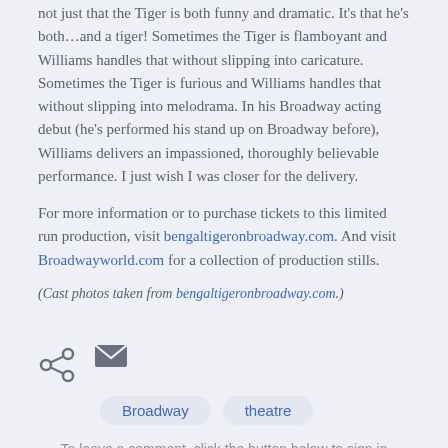not just that the Tiger is both funny and dramatic. It's that he's both…and a tiger! Sometimes the Tiger is flamboyant and Williams handles that without slipping into caricature. Sometimes the Tiger is furious and Williams handles that without slipping into melodrama. In his Broadway acting debut (he's performed his stand up on Broadway before), Williams delivers an impassioned, thoroughly believable performance. I just wish I was closer for the delivery.
For more information or to purchase tickets to this limited run production, visit bengaltigeronbroadway.com. And visit Broadwayworld.com for a collection of production stills.
(Cast photos taken from bengaltigeronbroadway.com.)
[Figure (infographic): Share icon (less-than sign style) and mail envelope icon]
Broadway
theatre
To leave a comment, click the button below to sign in